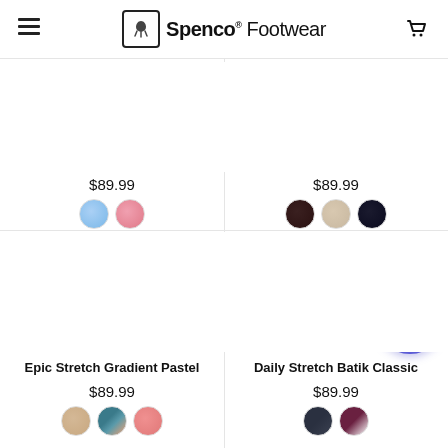Spenco Footwear
$89.99
$89.99
Epic Stretch Gradient Pastel
$89.99
Daily Stretch Batik Classic
$89.99